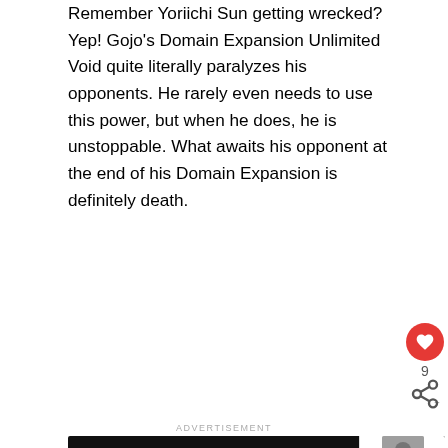Remember Yoriichi Sun getting wrecked? Yep! Gojo's Domain Expansion Unlimited Void quite literally paralyzes his opponents. He rarely even needs to use this power, but when he does, he is unstoppable. What awaits his opponent at the end of his Domain Expansion is definitely death.
[Figure (infographic): Red circular like/heart button with count of 9 below it, and a share icon below that on the right sidebar]
ADVERTISEMENT
[Figure (screenshot): Advertisement banner: DON'T TEXT AND [car emoji] on dark background, with NHTSA logo and 'WHAT'S NEXT → Will Gojo Satoru Be...' panel on the right]
[Figure (screenshot): Blue advertisement banner: FOSTER. ADOPT. ♡♡ RESCUE. ADVOCATE. with dog photo on left and X close button]